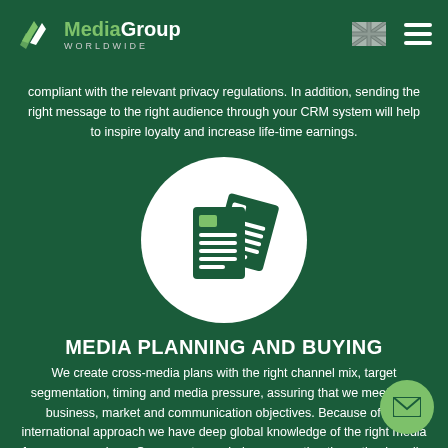MediaGroup WORLDWIDE
compliant with the relevant privacy regulations. In addition, sending the right message to the right audience through your CRM system will help to inspire loyalty and increase life-time earnings.
[Figure (illustration): White circle with icon of two documents/papers with lines representing text, on dark green background]
MEDIA PLANNING AND BUYING
We create cross-media plans with the right channel mix, target segmentation, timing and media pressure, assuring that we meet your business, market and communication objectives. Because of our international approach we have deep global knowledge of the right media for your campaigns. Our experts can help you creating the optimal media plans, usually based on local insights including TV, Radio,